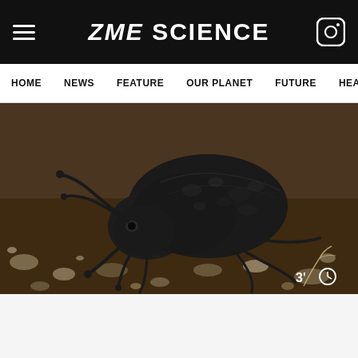ZME SCIENCE
HOME | NEWS | FEATURE | OUR PLANET | FUTURE | HEALTH
[Figure (photo): Close-up macro photograph of a large black darkling beetle (possibly Nosoderma diabolicum, the diabolical ironclad beetle) on gravelly ground with pebbles and soil. The beetle is viewed from a front-side angle showing its textured, rough exoskeleton. A reading time indicator '3' and a clock icon appear in the lower right corner of the image.]